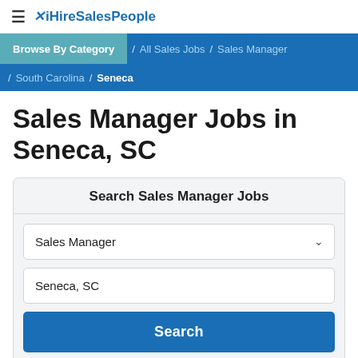≡ ✕ iHireSalesPeople
Browse By Category / All Sales Jobs / Sales Manager / South Carolina / Seneca
Sales Manager Jobs in Seneca, SC
Search Sales Manager Jobs
Sales Manager
Seneca, SC
Search